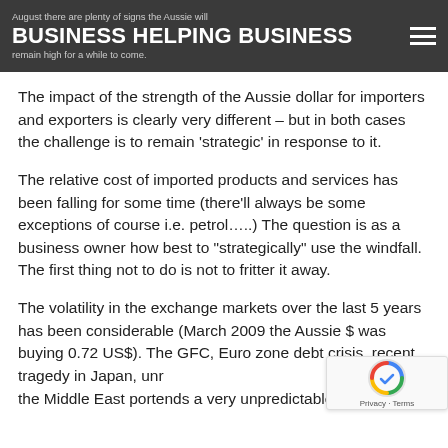August there are plenty of signs the Aussie will BUSINESS HELPING BUSINESS remain high for a while to come.
The impact of the strength of the Aussie dollar for importers and exporters is clearly very different – but in both cases the challenge is to remain ‘strategic’ in response to it.
The relative cost of imported products and services has been falling for some time (there’ll always be some exceptions of course i.e. petrol….) The question is as a business owner how best to “strategically” use the windfall. The first thing not to do is not to fritter it away.
The volatility in the exchange markets over the last 5 years has been considerable (March 2009 the Aussie $ was buying 0.72 US$). The GFC, Euro zone debt crisis, recent tragedy in Japan, unrest in the Middle East portends a very unpredictable